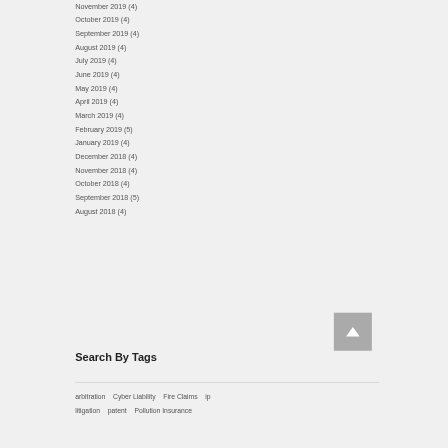November 2019 (4)
October 2019 (4)
September 2019 (4)
August 2019 (4)
July 2019 (4)
June 2019 (4)
May 2019 (4)
April 2019 (4)
March 2019 (4)
February 2019 (5)
January 2019 (4)
December 2018 (4)
November 2018 (4)
October 2018 (4)
September 2018 (5)
August 2018 (4)
Search By Tags
arbitration   Cyber Liability   Fire Claims   ip   litigation   patent   Pollution Insurance